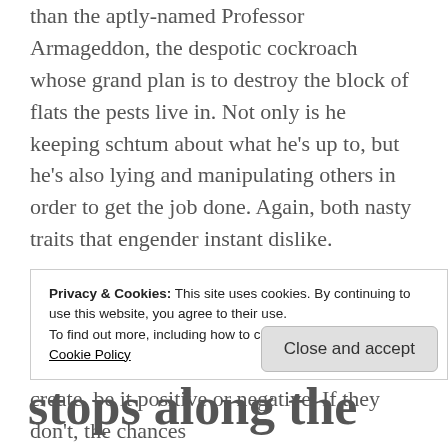than the aptly-named Professor Armageddon, the despotic cockroach whose grand plan is to destroy the block of flats the pests live in. Not only is he keeping schtum about what he's up to, but he's also lying and manipulating others in order to get the job done. Again, both nasty traits that engender instant dislike.
Good or bad, naughty or nice, the most important thing is that your reader feels something towards the characters you create, be it positive or negative. If they don't, the chances are they'll be reaching for the bottle and not the…
Privacy & Cookies: This site uses cookies. By continuing to use this website, you agree to their use.
To find out more, including how to control cookies, see here:
Cookie Policy
stops along the tour